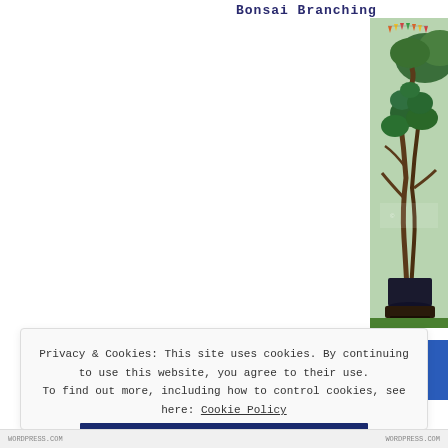Bonsai Branching Technique
[Figure (photo): A large bonsai tree with twisted trunk displayed outdoors in a dark pot on a wooden stand, with colorful triangle bunting flags in the background and green garden scenery]
Privacy & Cookies: This site uses cookies. By continuing to use this website, you agree to their use. To find out more, including how to control cookies, see here: Cookie Policy
Close and accept